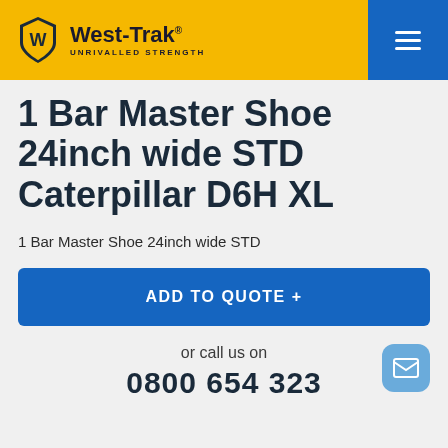[Figure (logo): West-Trak logo with shield/W icon and tagline 'UNRIVALLED STRENGTH', set on a yellow header bar with blue menu hamburger icon on the right]
1 Bar Master Shoe 24inch wide STD Caterpillar D6H XL
1 Bar Master Shoe 24inch wide STD
ADD TO QUOTE +
or call us on
0800 654 323